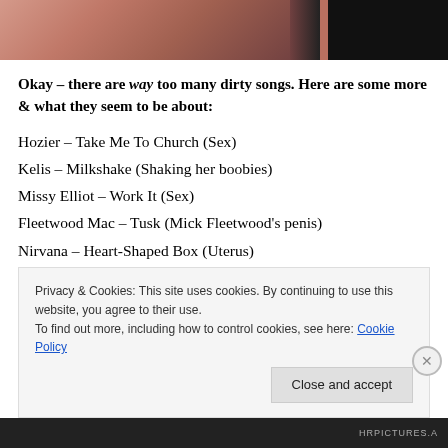[Figure (photo): Partial photo of a person, cropped at top, with dark background on the right side]
Okay – there are way too many dirty songs. Here are some more & what they seem to be about:
Hozier – Take Me To Church (Sex)
Kelis – Milkshake (Shaking her boobies)
Missy Elliot – Work It (Sex)
Fleetwood Mac – Tusk (Mick Fleetwood's penis)
Nirvana – Heart-Shaped Box (Uterus)
Privacy & Cookies: This site uses cookies. By continuing to use this website, you agree to their use.
To find out more, including how to control cookies, see here: Cookie Policy
HRPICTURES.A